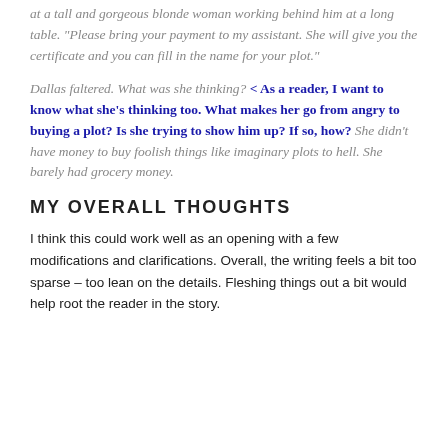at a tall and gorgeous blonde woman working behind him at a long table. "Please bring your payment to my assistant. She will give you the certificate and you can fill in the name for your plot."
Dallas faltered. What was she thinking? < As a reader, I want to know what she's thinking too. What makes her go from angry to buying a plot? Is she trying to show him up? If so, how? She didn't have money to buy foolish things like imaginary plots to hell. She barely had grocery money.
MY OVERALL THOUGHTS
I think this could work well as an opening with a few modifications and clarifications. Overall, the writing feels a bit too sparse – too lean on the details. Fleshing things out a bit would help root the reader in the story.